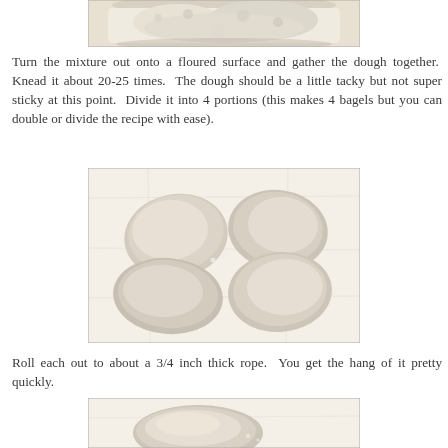[Figure (photo): Top portion of a glass bowl containing flour/dough mixture, cropped at top and bottom]
Turn the mixture out onto a floured surface and gather the dough together.  Knead it about 20-25 times.  The dough should be a little tacky but not super sticky at this point.  Divide it into 4 portions (this makes 4 bagels but you can double or divide the recipe with ease).
[Figure (photo): Four portions of divided dough on white parchment paper, arranged in a 2x2 grid]
Roll each out to about a 3/4 inch thick rope.  You get the hang of it pretty quickly.
[Figure (photo): A single portion of dough on white parchment paper, beginning of rolling process]